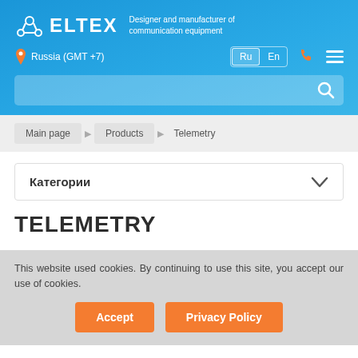ELTEX — Designer and manufacturer of communication equipment
Russia (GMT +7) | Ru | En
Main page > Products > Telemetry
Категории
TELEMETRY
This website used cookies. By continuing to use this site, you accept our use of cookies.
Accept | Privacy Policy